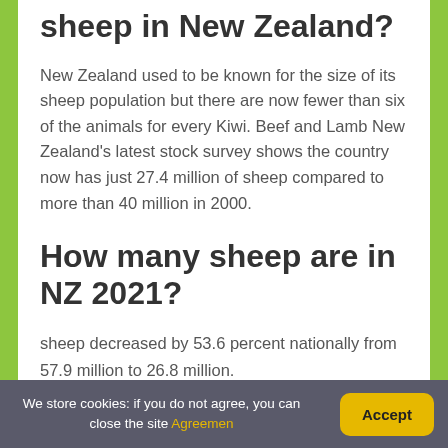What is the population of sheep in New Zealand?
New Zealand used to be known for the size of its sheep population but there are now fewer than six of the animals for every Kiwi. Beef and Lamb New Zealand's latest stock survey shows the country now has just 27.4 million of sheep compared to more than 40 million in 2000.
How many sheep are in NZ 2021?
sheep decreased by 53.6 percent nationally from 57.9 million to 26.8 million.
We store cookies: if you do not agree, you can close the site Agreemen